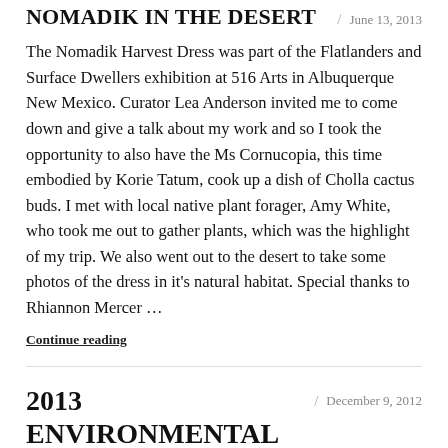NOMADIK IN THE DESERT
June 13, 2013
The Nomadik Harvest Dress was part of the Flatlanders and Surface Dwellers exhibition at 516 Arts in Albuquerque New Mexico. Curator Lea Anderson invited me to come down and give a talk about my work and so I took the opportunity to also have the Ms Cornucopia, this time embodied by Korie Tatum, cook up a dish of Cholla cactus buds. I met with local native plant forager, Amy White, who took me out to gather plants, which was the highlight of my trip. We also went out to the desert to take some photos of the dress in it's natural habitat. Special thanks to Rhiannon Mercer …
Continue reading
2013 ENVIRONMENTAL ART CALENDAR
December 9, 2012